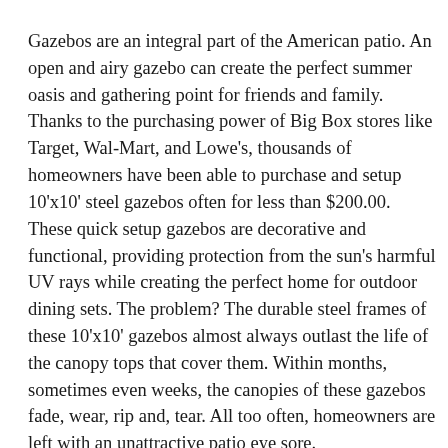Gazebos are an integral part of the American patio. An open and airy gazebo can create the perfect summer oasis and gathering point for friends and family. Thanks to the purchasing power of Big Box stores like Target, Wal-Mart, and Lowe's, thousands of homeowners have been able to purchase and setup 10'x10' steel gazebos often for less than $200.00. These quick setup gazebos are decorative and functional, providing protection from the sun's harmful UV rays while creating the perfect home for outdoor dining sets. The problem? The durable steel frames of these 10'x10' gazebos almost always outlast the life of the canopy tops that cover them. Within months, sometimes even weeks, the canopies of these gazebos fade, wear, rip and, tear. All too often, homeowners are left with an unattractive patio eye sore.